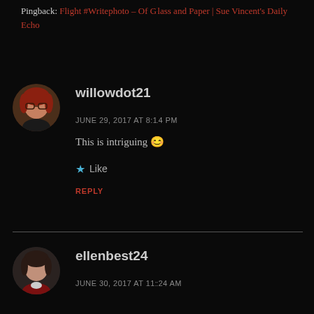Pingback: Flight #Writephoto – Of Glass and Paper | Sue Vincent's Daily Echo
[Figure (photo): Round avatar photo of willowdot21, a woman with red hair and glasses]
willowdot21
JUNE 29, 2017 AT 8:14 PM
This is intriguing 😊
Like
REPLY
[Figure (photo): Round avatar photo of ellenbest24, a woman with dark hair]
ellenbest24
JUNE 30, 2017 AT 11:24 AM